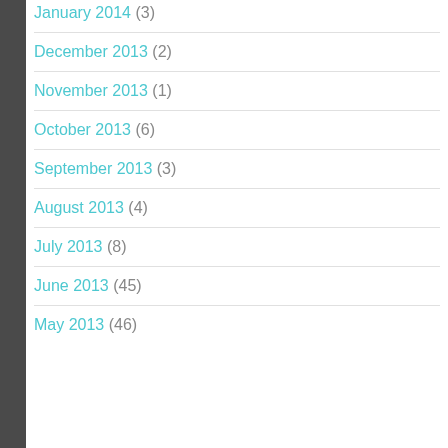January 2014 (3)
December 2013 (2)
November 2013 (1)
October 2013 (6)
September 2013 (3)
August 2013 (4)
July 2013 (8)
June 2013 (45)
May 2013 (46)